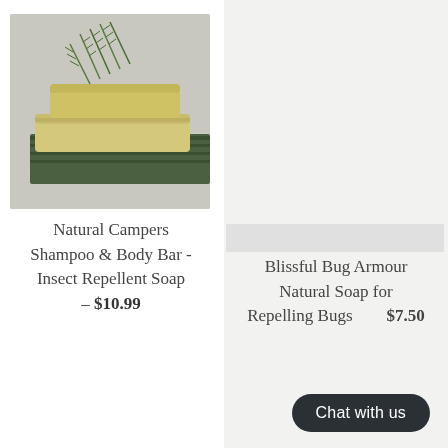[Figure (photo): Photo of natural handmade soap bars (yellowish/olive colored) stacked on a green cloth with rosemary sprigs, against a gray background]
[Figure (photo): Photo of Lolablue Blissful Bug Armour handmade natural palm oil-free soap product box with orange and dark brown packaging, showing a yellow soap bar on top]
Natural Campers Shampoo & Body Bar - Insect Repellent Soap
– $10.99
Blissful Bug Armour Natural Soap for Repelling Bugs
$7.50
Chat with us